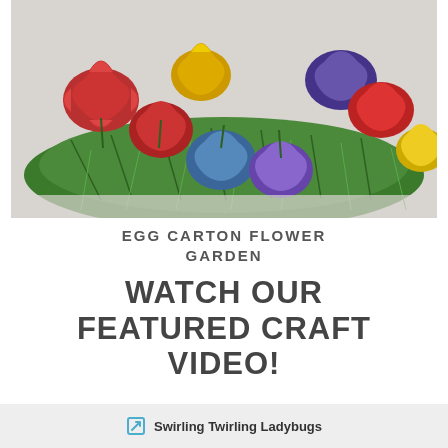[Figure (photo): A craft arrangement of colorful painted egg carton flowers (red, yellow, blue, purple) nestled in green shredded paper/moss, viewed from above on a light gray surface.]
EGG CARTON FLOWER GARDEN
WATCH OUR FEATURED CRAFT VIDEO!
Swirling Twirling Ladybugs